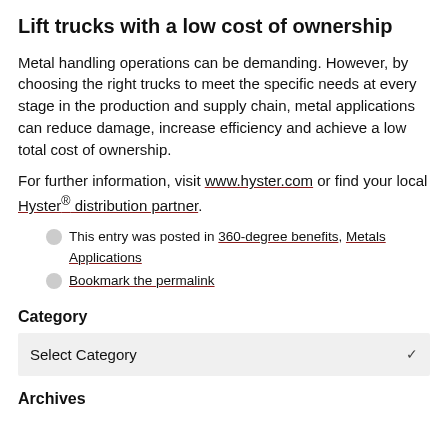Lift trucks with a low cost of ownership
Metal handling operations can be demanding. However, by choosing the right trucks to meet the specific needs at every stage in the production and supply chain, metal applications can reduce damage, increase efficiency and achieve a low total cost of ownership.
For further information, visit www.hyster.com or find your local Hyster® distribution partner.
This entry was posted in 360-degree benefits, Metals Applications
Bookmark the permalink
Category
Select Category
Archives